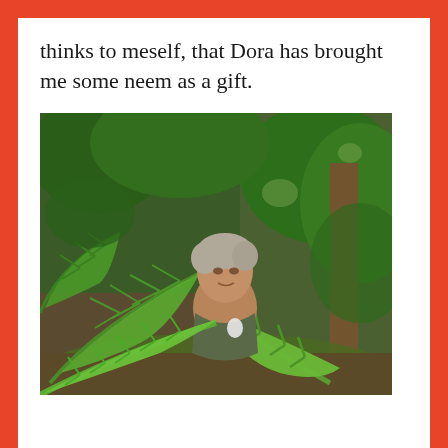thinks to meself, that Dora has brought me some neem as a gift.
[Figure (photo): A person partially hidden among large lush green fern fronds in a tropical forest setting. The person's face is visible above the fronds, with dense green vegetation and brown earth visible in the background.]